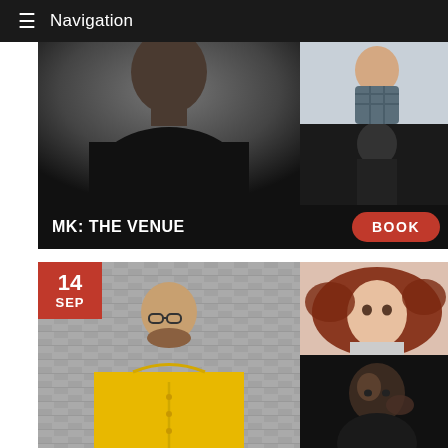Navigation
[Figure (photo): Event listing screenshot showing a mobile website with navigation bar, performer photos for MK: THE VENUE event with a BOOK button, and a second event listing dated 14 SEP with multiple performer photos]
MK: THE VENUE
BOOK
14 SEP